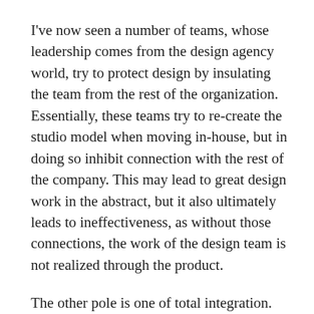I've now seen a number of teams, whose leadership comes from the design agency world, try to protect design by insulating the team from the rest of the organization. Essentially, these teams try to re-create the studio model when moving in-house, but in doing so inhibit connection with the rest of the company. This may lead to great design work in the abstract, but it also ultimately leads to ineffectiveness, as without those connections, the work of the design team is not realized through the product.
The other pole is one of total integration. Product design molds itself to whatever product development process exists, usually some flavor of agile. While this integration allows design to have some effect, the quality is subpar, because design is a different kind of activity than engineering, and what works for technical development is not ideal for great design. So, by trying